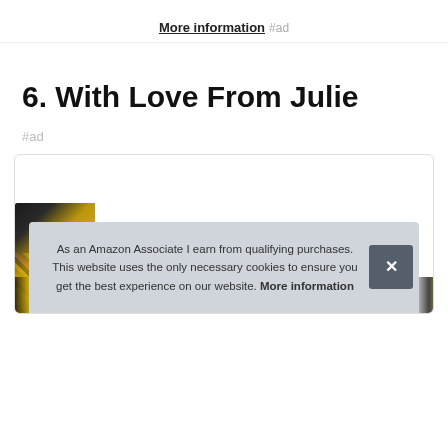More information #ad
6. With Love From Julie
#ad
[Figure (photo): Card box containing a book with gold and black cover, with a decorative patterned strip at the bottom. A cookie consent banner overlays the bottom portion.]
As an Amazon Associate I earn from qualifying purchases. This website uses the only necessary cookies to ensure you get the best experience on our website. More information